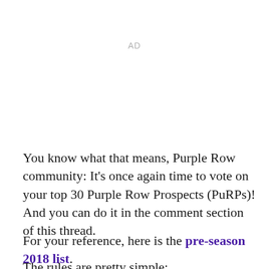AD
You know what that means, Purple Row community: It's once again time to vote on your top 30 Purple Row Prospects (PuRPs)! And you can do it in the comment section of this thread.
For your reference, here is the pre-season 2018 list.
The rules are pretty simple:
Your list must be at least 30 players long – partial